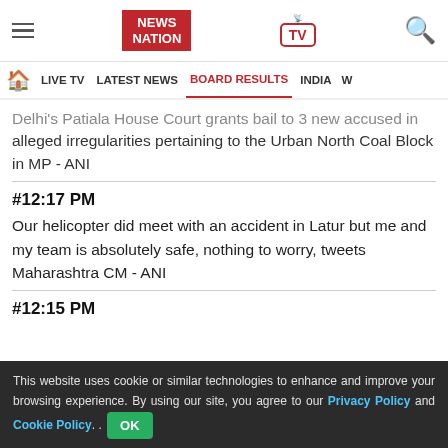NEWS NATION | LIVE TV | LATEST NEWS | BOARD RESULTS | INDIA
Delhi's Patiala House Court grants bail to 3 new accused in alleged irregularities pertaining to the Urban North Coal Block in MP - ANI
#12:17 PM
Our helicopter did meet with an accident in Latur but me and my team is absolutely safe, nothing to worry, tweets Maharashtra CM - ANI
#12:15 PM
This website uses cookie or similar technologies to enhance and improve your browsing experience. By using our site, you agree to our Privacy Policy and Cookie Policy.